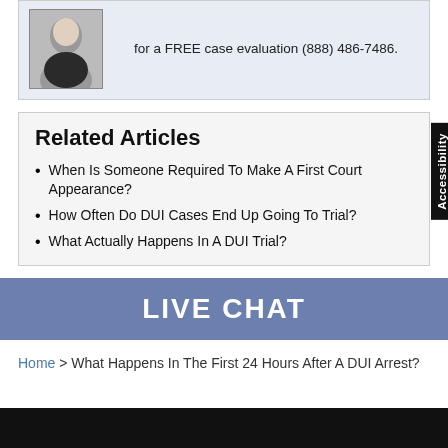for a FREE case evaluation (888) 486-7486.
Related Articles
When Is Someone Required To Make A First Court Appearance?
How Often Do DUI Cases End Up Going To Trial?
What Actually Happens In A DUI Trial?
LIVE CHAT
Home > What Happens In The First 24 Hours After A DUI Arrest?